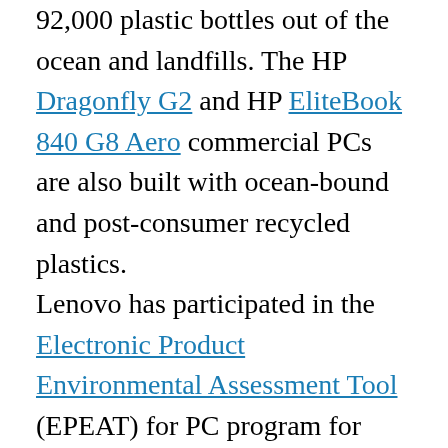92,000 plastic bottles out of the ocean and landfills. The HP Dragonfly G2 and HP EliteBook 840 G8 Aero commercial PCs are also built with ocean-bound and post-consumer recycled plastics. Lenovo has participated in the Electronic Product Environmental Assessment Tool (EPEAT) for PC program for more than 10 years and continues to register at the gold and silver levels, meaning that their devices are created, delivered and disposed of in the most